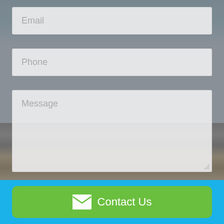[Figure (screenshot): Contact form UI with Email, Phone, and Message input fields over a blurred office/hallway background photo with carpet flooring visible]
Email
Phone
Message
Send
Contact Us